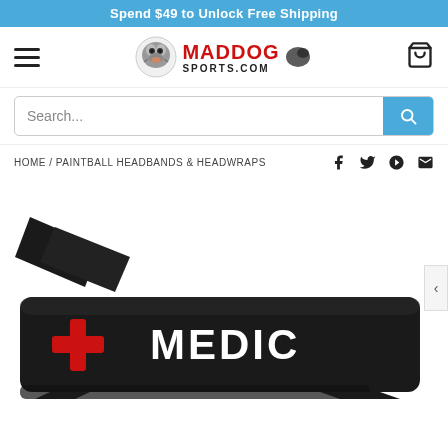Spend $49 to Unlock Free Shipping
[Figure (logo): Maddog Sports.com logo with bulldog mascot and ink splat graphic]
Search...
HOME / PAINTBALL HEADBANDS & HEADWRAPS
[Figure (photo): Black paintball headband/headwrap with red cross symbol and white MEDIC text printed on it]